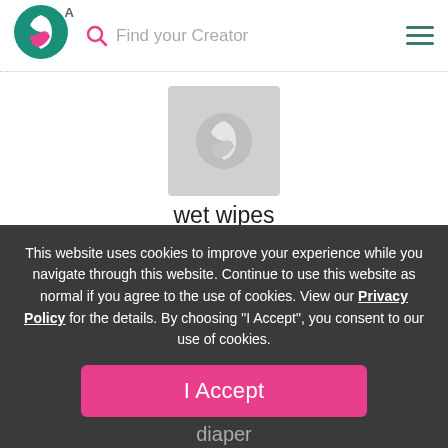A  Find your Creator
[Figure (illustration): SubscribeStar logo — teal circle with stylized arrow icon and pink accent, plus a badge letter A. Search icon (pink magnifying glass) and hamburger menu (teal lines) in header.]
[Figure (photo): Profile image placeholder — grey rounded square with SubscribeStar logo watermark]
wet wipes
Limited (0 out of 10) subscriptions   SubscribeStar $30.00 tier
for every TWO periods you are subscribed, you receive a full body flat color image, or you may get a fullbody sketch per period subbed.
Unlock
This website uses cookies to improve your experience while you navigate through this website. Continue to use this website as normal if you agree to the use of cookies. View our Privacy Policy for the details. By choosing "I Accept", you consent to our use of cookies.
I Accept
diaper